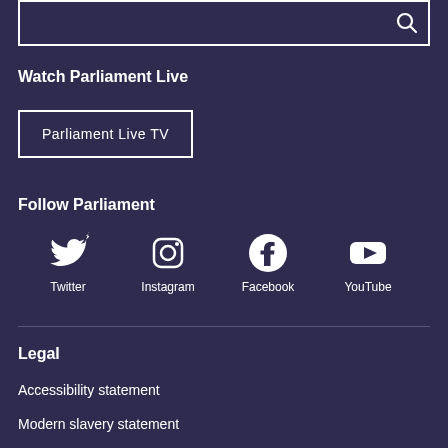[Figure (other): Search input box with magnifying glass icon]
Watch Parliament Live
Parliament Live TV
Follow Parliament
[Figure (infographic): Social media icons and labels: Twitter, Instagram, Facebook, YouTube]
Legal
Accessibility statement
Modern slavery statement